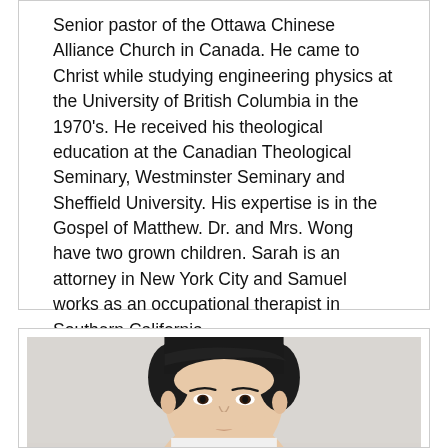Senior pastor of the Ottawa Chinese Alliance Church in Canada. He came to Christ while studying engineering physics at the University of British Columbia in the 1970's. He received his theological education at the Canadian Theological Seminary, Westminster Seminary and Sheffield University. His expertise is in the Gospel of Matthew. Dr. and Mrs. Wong have two grown children. Sarah is an attorney in New York City and Samuel works as an occupational therapist in Southern California.
[Figure (photo): Headshot portrait of an Asian man with dark hair against a light gray background, cropped at the bottom of the frame.]